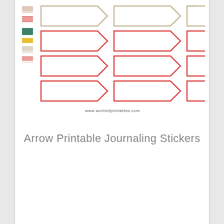[Figure (illustration): Printable journaling sticker sheet with arrow/bookmark shaped stickers in multiple rows and colors (beige outline, red outline) plus small color swatches on the left side, and a website watermark www.worldofprintables.com]
Arrow Printable Journaling Stickers